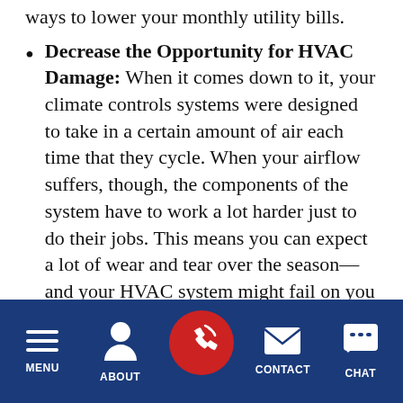ways to lower your monthly utility bills.
Decrease the Opportunity for HVAC Damage: When it comes down to it, your climate controls systems were designed to take in a certain amount of air each time that they cycle. When your airflow suffers, though, the components of the system have to work a lot harder just to do their jobs. This means you can expect a lot of wear and tear over the season—and your HVAC system might fail on you
MENU | ABOUT | (call) | CONTACT | CHAT